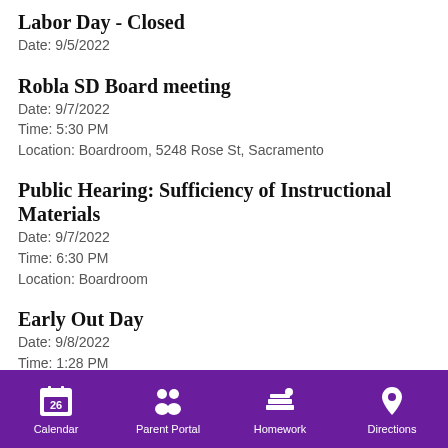Labor Day - Closed
Date: 9/5/2022
Robla SD Board meeting
Date: 9/7/2022
Time: 5:30 PM
Location: Boardroom, 5248 Rose St, Sacramento
Public Hearing: Sufficiency of Instructional Materials
Date: 9/7/2022
Time: 6:30 PM
Location: Boardroom
Early Out Day
Date: 9/8/2022
Time: 1:28 PM
Calendar  Parent Portal  Homework  Directions